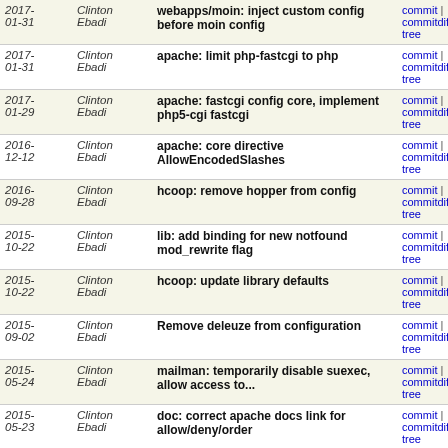| Date | Author | Message | Links |
| --- | --- | --- | --- |
| 2017-01-31 | Clinton Ebadi | webapps/moin: inject custom config before moin config | commit | commitdiff | tree |
| 2017-01-31 | Clinton Ebadi | apache: limit php-fastcgi to php | commit | commitdiff | tree |
| 2017-01-29 | Clinton Ebadi | apache: fastcgi config core, implement php5-cgi fastcgi | commit | commitdiff | tree |
| 2016-12-12 | Clinton Ebadi | apache: core directive AllowEncodedSlashes | commit | commitdiff | tree |
| 2016-09-28 | Clinton Ebadi | hcoop: remove hopper from config | commit | commitdiff | tree |
| 2015-10-22 | Clinton Ebadi | lib: add binding for new notfound mod_rewrite flag | commit | commitdiff | tree |
| 2015-10-22 | Clinton Ebadi | hcoop: update library defaults | commit | commitdiff | tree |
| 2015-09-02 | Clinton Ebadi | Remove deleuze from configuration | commit | commitdiff | tree |
| 2015-05-24 | Clinton Ebadi | mailman: temporarily disable suexec, allow access to... | commit | commitdiff | tree |
| 2015-05-23 | Clinton Ebadi | doc: correct apache docs link for allow/deny/order | commit | commitdiff | tree |
| 2015-05-23 | Clinton Ebadi | mod_proxy: add retry=0 to ProxyPass | commit | commitdiff | tree |
| 2015-05-23 | Clinton Ebadi | doc: rename proxy/url to match other modules | commit | commitdiff | tree |
| 2015-05-22 | Clinton Ebadi | autodoc: fix css and image paths to automatically use ssl | commit | commitdiff | tree |